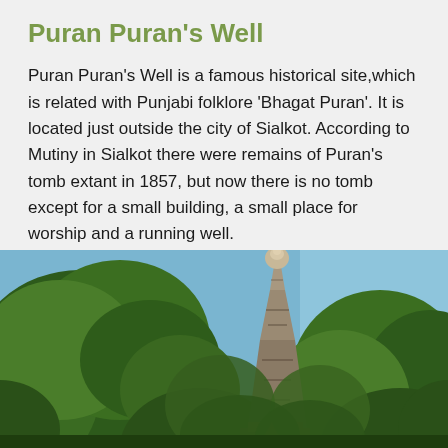Puran Puran's Well
Puran Puran's Well is a famous historical site,which is related with Punjabi folklore 'Bhagat Puran'. It is located just outside the city of Sialkot. According to Mutiny in Sialkot there were remains of Puran's tomb extant in 1857, but now there is no tomb except for a small building, a small place for worship and a running well.
[Figure (photo): Photograph showing a Hindu temple spire/shikhara rising above lush green trees against a blue sky, taken from a low angle. Parts of a red structure are visible at the base of the trees.]